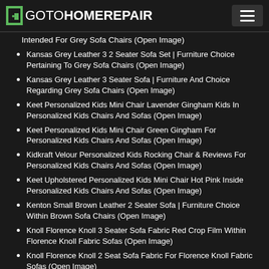GOTOHOMEREPAIR
Intended For Grey Sofa Chairs (Open Image)
Kansas Grey Leather 3 2 Seater Sofa Set | Furniture Choice Pertaining To Grey Sofa Chairs (Open Image)
Kansas Grey Leather 3 Seater Sofa | Furniture And Choice Regarding Grey Sofa Chairs (Open Image)
Keet Personalized Kids Mini Chair Lavender Gingham Kids In Personalized Kids Chairs And Sofas (Open Image)
Keet Personalized Kids Mini Chair Green Gingham For Personalized Kids Chairs And Sofas (Open Image)
Kidkraft Velour Personalized Kids Rocking Chair & Reviews For Personalized Kids Chairs And Sofas (Open Image)
Keet Upholstered Personalized Kids Mini Chair Hot Pink Inside Personalized Kids Chairs And Sofas (Open Image)
Kenton Small Brown Leather 2 Seater Sofa | Furniture Choice Within Brown Sofa Chairs (Open Image)
Knoll Florence Knoll 3 Seater Sofa Fabric Red Crop Film Within Florence Knoll Fabric Sofas (Open Image)
Knoll Florence Knoll 2 Seat Sofa Fabric For Florence Knoll Fabric Sofas (Open Image)